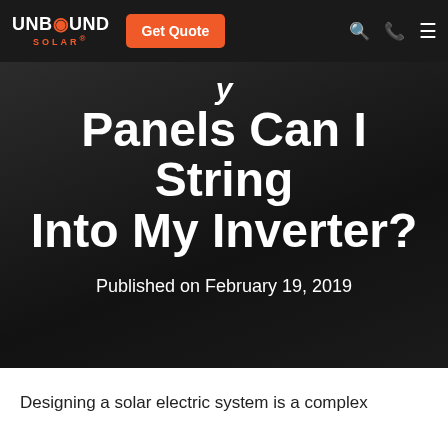UNBOUND SOLAR® | Get Quote
Panels Can I String Into My Inverter?
Published on February 19, 2019
Designing a solar electric system is a complex